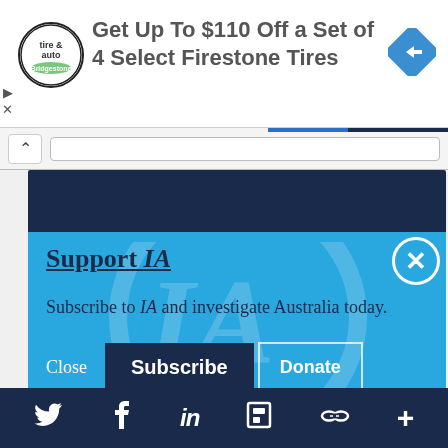[Figure (screenshot): Advertisement banner for Firestone tires showing logo, text 'Get Up To $110 Off a Set of 4 Select Firestone Tires', and navigation icon]
Get Up To $110 Off a Set of 4 Select Firestone Tires
[Figure (screenshot): Browser navigation bar with chevron up button and URL bar]
[Figure (screenshot): Dark navy website header area]
Support IA
Subscribe to IA and investigate Australia today.
Close   Subscribe   Donate
[Figure (screenshot): Social media bottom bar with Twitter, Facebook, LinkedIn, Flipboard, share and plus icons]